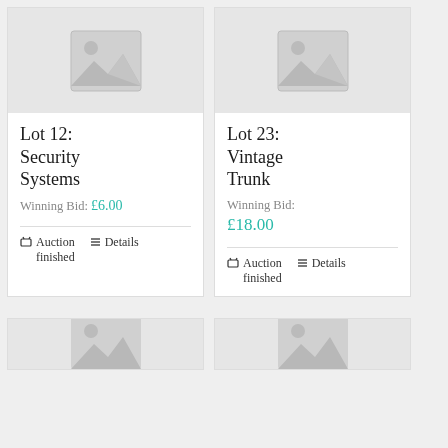[Figure (illustration): Placeholder image thumbnail for Lot 12 showing mountain/landscape icon on grey background]
Lot 12: Security Systems
Winning Bid: £6.00
Auction finished   Details
[Figure (illustration): Placeholder image thumbnail for Lot 23 showing mountain/landscape icon on grey background]
Lot 23: Vintage Trunk
Winning Bid: £18.00
Auction finished   Details
[Figure (illustration): Partial placeholder image thumbnail at bottom left]
[Figure (illustration): Partial placeholder image thumbnail at bottom right]